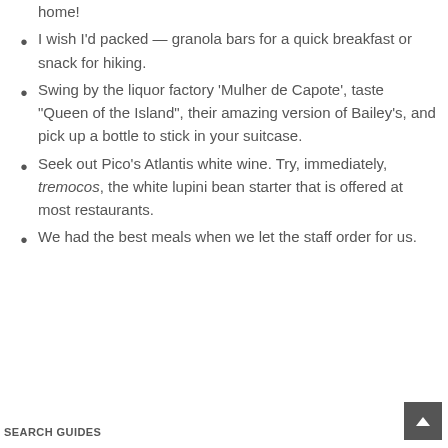home!
I wish I'd packed — granola bars for a quick breakfast or snack for hiking.
Swing by the liquor factory 'Mulher de Capote', taste "Queen of the Island", their amazing version of Bailey's, and pick up a bottle to stick in your suitcase.
Seek out Pico's Atlantis white wine. Try, immediately, tremocos, the white lupini bean starter that is offered at most restaurants.
We had the best meals when we let the staff order for us.
SEARCH GUIDES